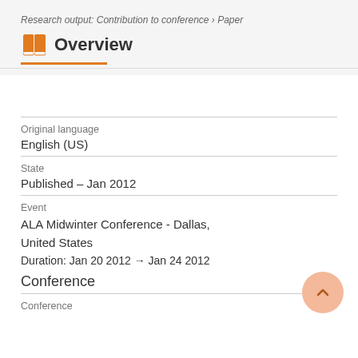Research output: Contribution to conference › Paper
Overview
| Field | Value |
| --- | --- |
| Original language | English (US) |
| State | Published – Jan 2012 |
| Event | ALA Midwinter Conference - Dallas, United States
Duration: Jan 20 2012 → Jan 24 2012
Conference |
Conference